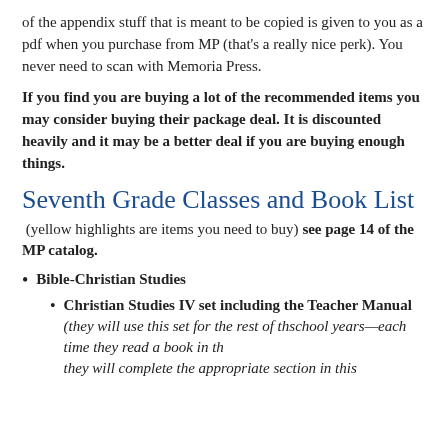of the appendix stuff that is meant to be copied is given to you as a pdf when you purchase from MP (that's a really nice perk).  You never need to scan with Memoria Press.
If you find you are buying a lot of the recommended items you may consider buying their package deal.  It is discounted heavily and it may be a better deal if you are buying enough things.
Seventh Grade Classes and Book List
(yellow highlights are items you need to buy) see page 14 of the MP catalog.
Bible-Christian Studies
Christian Studies IV set including the Teacher Manual (they will use this set for the rest of the school years—each time they read a book in th… they will complete the appropriate section in this